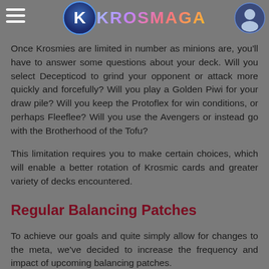Krosmaga
Once Krosmies are limited in number as minions are, you'll have to answer some questions about your deck. Will you select Decepticod to grind your opponent or attack more quickly and forcefully? Will you play a Golden Piwi for your draw pile? Will you keep the Protoflex for win conditions, or perhaps Fleeflee? Will you use the Avengers or instead go with the Brotherhood of the Tofu?
This limitation requires you to make certain choices, which will enable a better rotation of Krosmic cards and greater variety of decks encountered.
Regular Balancing Patches
To achieve our goals and quite simply allow for changes to the meta, we've decided to increase the frequency and impact of upcoming balancing patches.
We want the meta to be more lively and dynamic – to that end, we've launched a sizable balancing project. Over the next few months, we'll be releasing a substantial patch each month to redesign cards